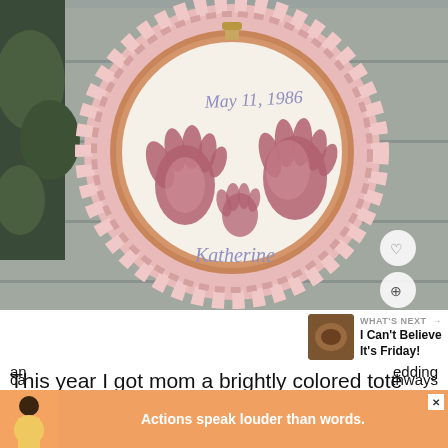[Figure (photo): An embroidery hoop decorated with pink ruffled fabric trim. Inside the hoop on cream fabric are two red/mauve handprints and text reading 'May 11, 1986' at the top and 'Katherine' at the bottom. The hoop is photographed on a gray wooden surface with green leaves visible in the background.]
WHAT'S NEXT → I Can't Believe It's Friday!
This year I got mom a brightly colored tote bag
an
edding
[Figure (infographic): Advertisement banner with orange background showing a person silhouette and text 'Actions speak louder than words.']
ca
thways